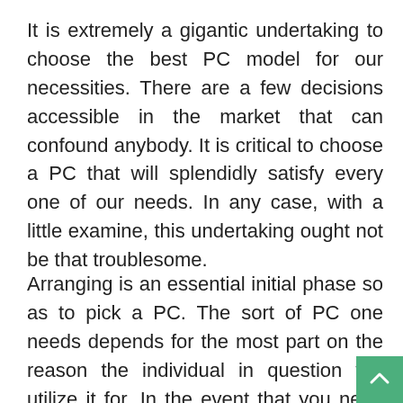It is extremely a gigantic undertaking to choose the best PC model for our necessities. There are a few decisions accessible in the market that can confound anybody. It is critical to choose a PC that will splendidly satisfy every one of our needs. In any case, with a little examine, this undertaking ought not be that troublesome.
Arranging is an essential initial phase so as to pick a PC. The sort of PC one needs depends for the most part on the reason the individual in question will utilize it for. In the event that you need mess around on your PC, at that point you should choose a ground-breaking PC model. So they offer you the...